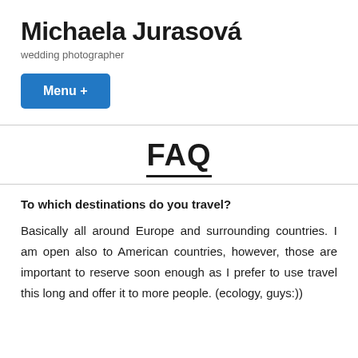Michaela Jurasová
wedding photographer
Menu +
FAQ
To which destinations do you travel?
Basically all around Europe and surrounding countries. I am open also to American countries, however, those are important to reserve soon enough as I prefer to use travel this long and offer it to more people. (ecology, guys:))